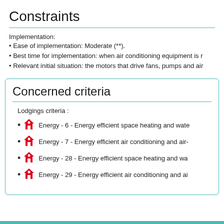Constraints
Implementation:
Ease of implementation: Moderate (**).
Best time for implementation: when air conditioning equipment is r
Relevant initial situation: the motors that drive fans, pumps and air
Concerned criteria
Lodgings criteria :
Energy - 6 - Energy efficient space heating and wate
Energy - 7 - Energy efficient air conditioning and air-
Energy - 28 - Energy efficient space heating and wa
Energy - 29 - Energy efficient air conditioning and ai